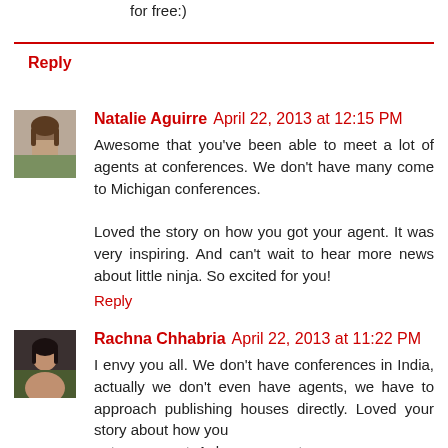for free:)
Reply
Natalie Aguirre  April 22, 2013 at 12:15 PM
Awesome that you've been able to meet a lot of agents at conferences. We don't have many come to Michigan conferences.

Loved the story on how you got your agent. It was very inspiring. And can't wait to hear more news about little ninja. So excited for you!
Reply
Rachna Chhabria  April 22, 2013 at 11:22 PM
I envy you all. We don't have conferences in India, actually we don't even have agents, we have to approach publishing houses directly. Loved your story about how you got your agent. A dream come true.